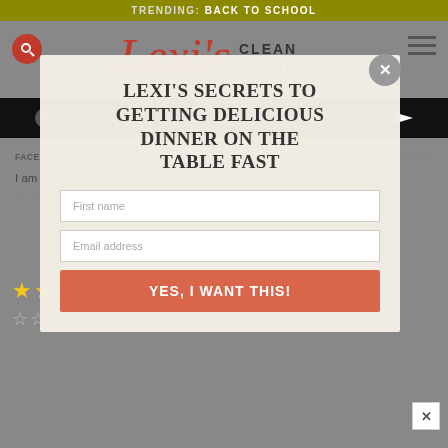TRENDING: BACK TO SCHOOL
[Figure (logo): Lexi's Clean Kitchen logo with cursive and sans-serif text]
[Figure (infographic): Dark social sharing bar with Pinterest, and other social icons]
FACEBOOK VIDEO DOWNLOADER
September 30, 2019 at 6:23 am
I am all that much satisfied with the substance you have said. I need to investigate this extraordinary article.
[Figure (other): 5 gold/yellow star rating icons]
[Figure (other): 5 grey outline star rating icons]
LEXI'S SECRETS TO GETTING DELICIOUS DINNER ON THE TABLE FAST
First name
Email address
YES, I WANT THIS!